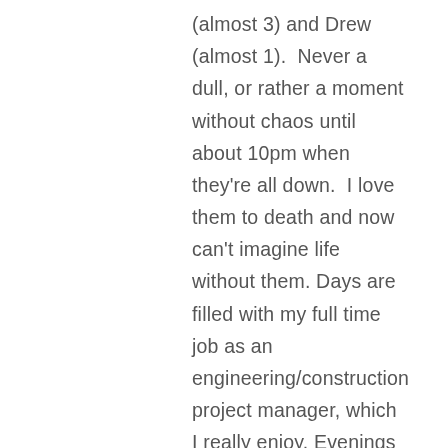(almost 3) and Drew (almost 1).  Never a dull, or rather a moment without chaos until about 10pm when they're all down.  I love them to death and now can't imagine life without them. Days are filled with my full time job as an engineering/construction project manager, which I really enjoy. Evenings are filled with family dinners, sports or school stuff, walks to the park/beach, and bath time, story time, and then bed time. Weekends are similar with even more kid action. Late nights or times when the girls are napping and Pax is chilling is when I dive into music.  You may see why the solo music creation